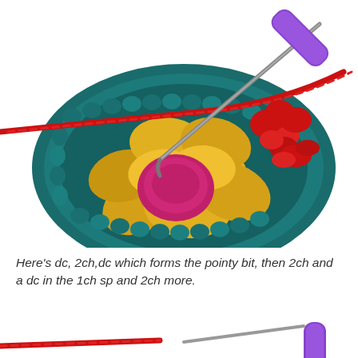[Figure (photo): Close-up photo of a crochet granny square in progress. The square features a flower motif with a pink/magenta center and yellow petals, surrounded by teal/dark green rounds. A crochet hook with a purple handle is visible at the top right, with red yarn being worked. A red yarn chain runs diagonally across the top of the piece.]
Here's dc, 2ch,dc which forms the pointy bit, then 2ch and a dc in the 1ch sp and 2ch more.
[Figure (photo): Partial photo at bottom of page showing the bottom portion of a crochet hook with purple handle and red yarn, similar to the top image.]